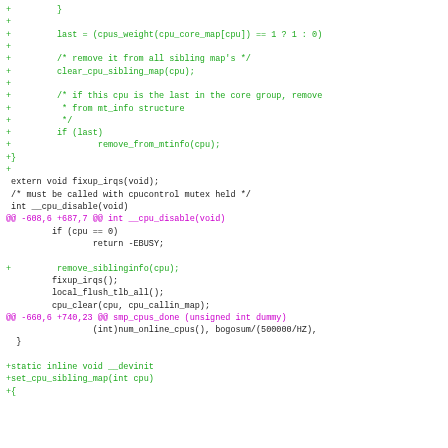[Figure (screenshot): Source code diff showing C kernel code with green added lines and magenta diff hunk headers. Content includes CPU sibling map removal, mt_info structure handling, cpu_disable function, remove_siblinginfo call, and set_cpu_sibling_map function.]